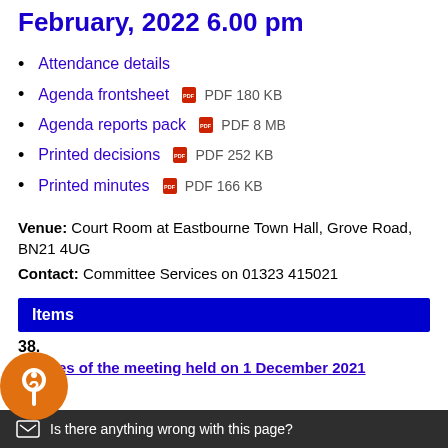February, 2022 6.00 pm
Attendance details
Agenda frontsheet  PDF 180 KB
Agenda reports pack  PDF 8 MB
Printed decisions  PDF 252 KB
Printed minutes  PDF 166 KB
Venue: Court Room at Eastbourne Town Hall, Grove Road, BN21 4UG
Contact: Committee Services on 01323 415021
Items
38.
Minutes of the meeting held on 1 December 2021
Is there anything wrong with this page?